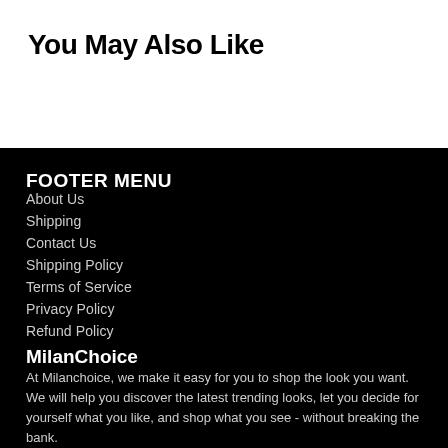You May Also Like
FOOTER MENU
About Us
Shipping
Contact Us
Shipping Policy
Terms of Service
Privacy Policy
Refund Policy
MilanChoice
At Milanchoice, we make it easy for you to shop the look you want. We will help you discover the latest trending looks, let you decide for yourself what you like, and shop what you see - without breaking the bank.